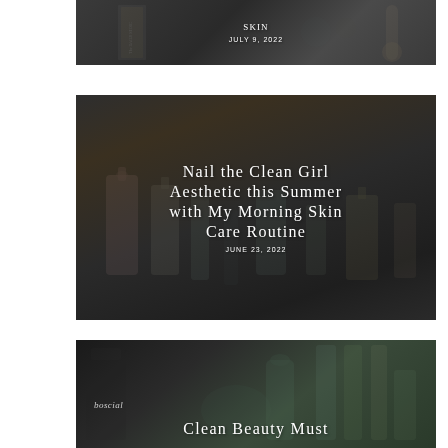[Figure (photo): Top portion of a blog post card showing skincare/beauty items on a dark surface with text overlay. Shows 'SKIN' partially visible at top and date 'JULY 9, 2022'.]
[Figure (photo): Blog post card with dark background showing various skincare product bottles and tubes arranged on a surface. White serif text overlay reads 'NAIL THE CLEAN GIRL AESTHETIC THIS SUMMER WITH MY MORNING SKIN CARE ROUTINE' and date 'JUNE 23, 2022'.]
[Figure (photo): Bottom blog post card showing clean beauty products including Bosciad brand products on a dark background. White serif text overlay reads 'CLEAN BEAUTY MUST' with text cut off.]